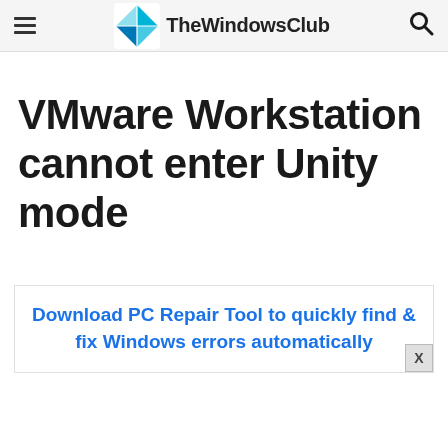TheWindowsClub
VMware Workstation cannot enter Unity mode
Download PC Repair Tool to quickly find & fix Windows errors automatically